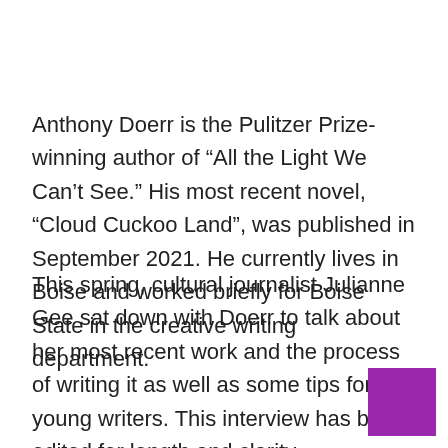Anthony Doerr is the Pulitzer Prize-winning author of “All the Light We Can’t See.” His most recent novel, “Cloud Cuckoo Land”, was published in September 2021. He currently lives in Boise and worked briefly for Boise State in the creative writing department.
This spring, cultural journalist Julianne Gee sat down with Doerr to talk about her most recent work and the process of writing it as well as some tips for young writers. This interview has been edited for length and clarity.
[Figure (other): A solid purple/magenta rectangle decorative element in the bottom-right corner of the page.]